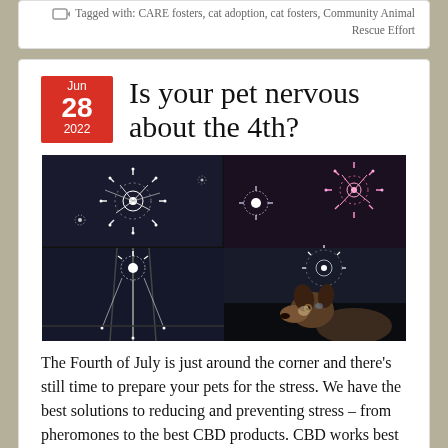Tagged with: CARE fosters, cat adoption, cat fosters, Community Animal Rescue Effort
Is your pet nervous about the 4th?
[Figure (photo): A grid of four dark nighttime photos showing fireworks in the sky through a window, with a dog looking out at them in the bottom-right panel.]
The Fourth of July is just around the corner and there's still time to prepare your pets for the stress. We have the best solutions to reducing and preventing stress – from pheromones to the best CBD products. CBD works best when it's been used for some time before the stress of the